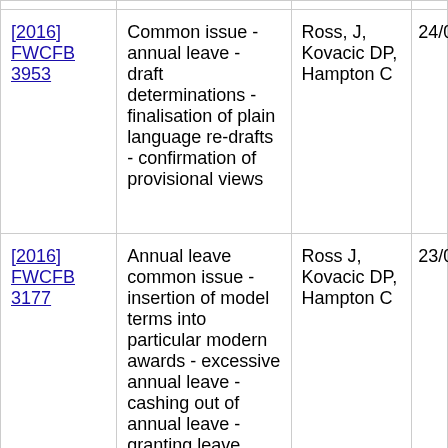| Case | Description | Judges | Date |
| --- | --- | --- | --- |
| [2016] FWCFB 3953 | Common issue - annual leave - draft determinations - finalisation of plain language re-drafts - confirmation of provisional views | Ross, J, Kovacic DP, Hampton C | 24/0 |
| [2016] FWCFB 3177 | Annual leave common issue - insertion of model terms into particular modern awards - excessive annual leave - cashing out of annual leave - granting leave | Ross J, Kovacic DP, Hampton C | 23/0 |